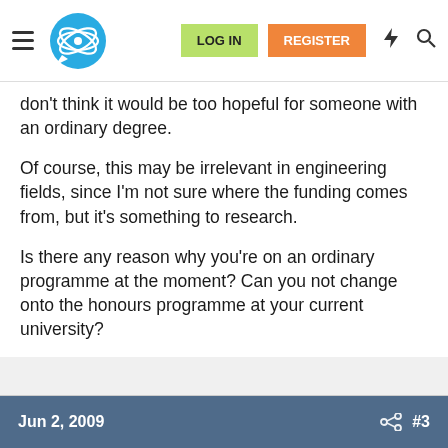LOG IN  REGISTER
don't think it would be too hopeful for someone with an ordinary degree.
Of course, this may be irrelevant in engineering fields, since I'm not sure where the funding comes from, but it's something to research.
Is there any reason why you're on an ordinary programme at the moment? Can you not change onto the honours programme at your current university?
Jun 2, 2009  #3